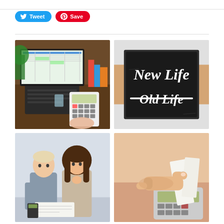[Figure (other): Twitter Tweet button - blue rounded button with bird icon and 'Tweet' text]
[Figure (other): Pinterest Save button - red rounded button with Pinterest P icon and 'Save' text]
[Figure (photo): Person using a calculator next to a laptop showing spreadsheets on a wooden desk with books and a glass of water]
[Figure (photo): Chalkboard sign held by hands showing 'New Life' written normally and 'Old Life' written with a strikethrough]
[Figure (photo): Young couple sitting together looking concerned, reviewing financial documents]
[Figure (photo): Close-up of a person's hand pointing at receipts/papers on a calculator]